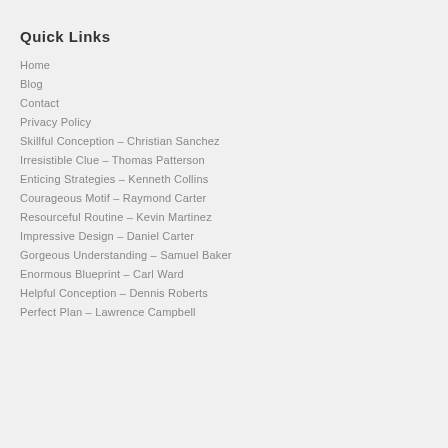Quick Links
Home
Blog
Contact
Privacy Policy
Skillful Conception – Christian Sanchez
Irresistible Clue – Thomas Patterson
Enticing Strategies – Kenneth Collins
Courageous Motif – Raymond Carter
Resourceful Routine – Kevin Martinez
Impressive Design – Daniel Carter
Gorgeous Understanding – Samuel Baker
Enormous Blueprint – Carl Ward
Helpful Conception – Dennis Roberts
Perfect Plan – Lawrence Campbell